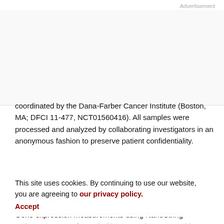Advertisement
coordinated by the Dana-Farber Cancer Institute (Boston, MA; DFCI 11-477, NCT01560416). All samples were processed and analyzed by collaborating investigators in an anonymous fashion to preserve patient confidentiality.
NanoString analysis
Gene expression measurements using NanoString codesets were performed with NanoString XT GEx kits. Analyses were performed on total RNA from clinical samples or mouse tumor tissue following manufacturer's instructions. Briefly, 100 ng total RNA (measured by Qubit,
This site uses cookies. By continuing to use our website, you are agreeing to our privacy policy. Accept